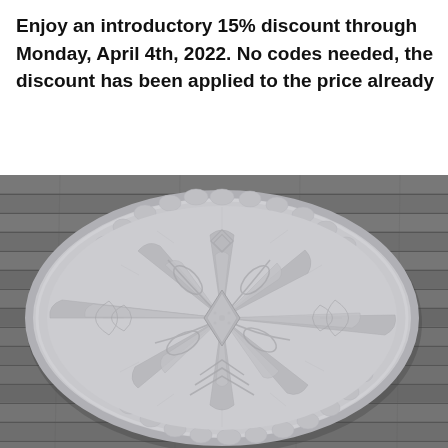Enjoy an introductory 15% discount through Monday, April 4th, 2022. No codes needed, the discount has been applied to the price already
[Figure (photo): A large circular knitted or crocheted blanket/rug with an intricate snowflake/star mandala pattern in light grey/white, laid flat on weathered grey wooden deck boards.]